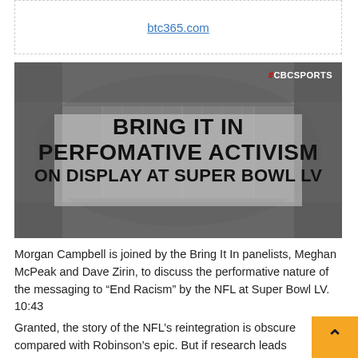btc365.com
[Figure (screenshot): CBC Sports thumbnail image with aerial stadium view and bold text: BRING IT IN PERFOMATIVE ACTIVISM ON DISPLAY AT SUPER BOWL LV]
Morgan Campbell is joined by the Bring It In panelists, Meghan McPeak and Dave Zirin, to discuss the performative nature of the messaging to “End Racism” by the NFL at Super Bowl LV. 10:43
Granted, the story of the NFL’s reintegration is obscure compared with Robinson’s epic. But if research leads advocates like Harding, it should also take you to